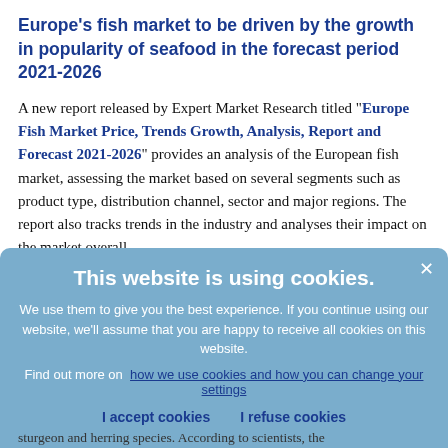Europe's fish market to be driven by the growth in popularity of seafood in the forecast period 2021-2026
A new report released by Expert Market Research titled "Europe Fish Market Price, Trends Growth, Analysis, Report and Forecast 2021-2026" provides an analysis of the European fish market, assessing the market based on several segments such as product type, distribution channel, sector and major regions. The report also tracks trends in the industry and analyses their impact on the market overall.
This website is using cookies. We use them to give you the best experience. If you continue using our website, we'll assume that you are happy to receive all cookies on this website. Find out more on how we use cookies and how you can change your settings. I accept cookies  I refuse cookies
sturgeon and herring species. According to scientists, the